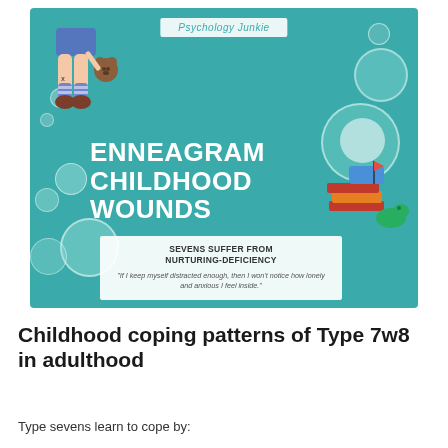[Figure (infographic): Teal infographic titled 'Enneagram Childhood Wounds' by Psychology Junkie. Features illustration of child's legs with teddy bear, decorative bubbles, toy boat/books, text box stating 'Sevens Suffer from Nurturing-Deficiency' with quote: 'If I keep myself distracted enough, then I won't notice how lonely and anxious I feel inside.']
Childhood coping patterns of Type 7w8 in adulthood
Type sevens learn to cope by: